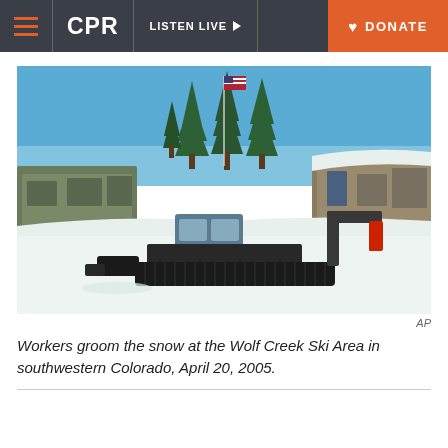CPR | LISTEN LIVE | DONATE
[Figure (photo): A snow groomer machine at work at the Wolf Creek Ski Area in southwestern Colorado. The vehicle is blue and black, operating on white snow. In the background are snow-covered buildings and tall pine trees under a blue sky, with an American flag on a flagpole.]
AP
Workers groom the snow at the Wolf Creek Ski Area in southwestern Colorado, April 20, 2005.